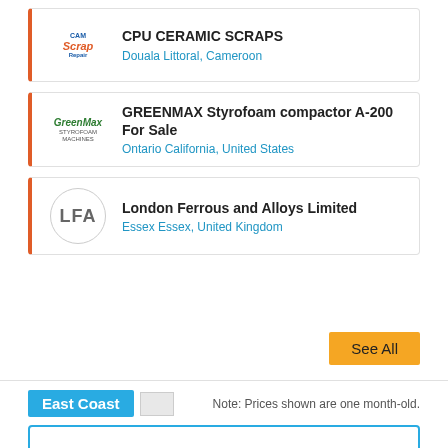CPU CERAMIC SCRAPS — Douala Littoral, Cameroon
GREENMAX Styrofoam compactor A-200 For Sale — Ontario California, United States
London Ferrous and Alloys Limited — Essex Essex, United Kingdom
See All
East Coast
Note: Prices shown are one month-old.
Copper Scrap
Transformer Winding (85%)